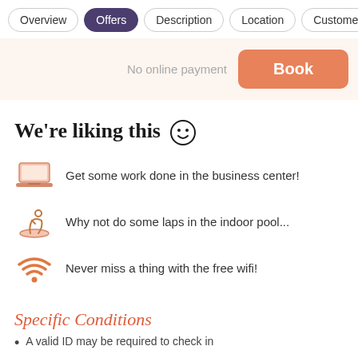Overview | Offers | Description | Location | Customer
No online payment
Book
We're liking this 😊
Get some work done in the business center!
Why not do some laps in the indoor pool...
Never miss a thing with the free wifi!
Specific Conditions
A valid ID may be required to check in